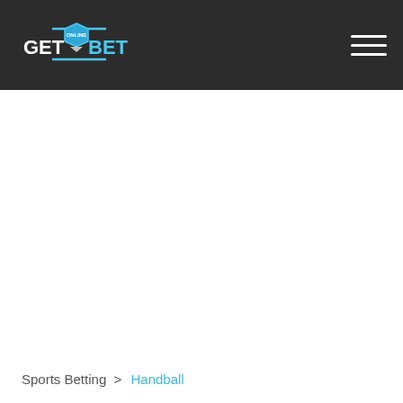GetOnlineBet logo and navigation header
Sports Betting > Handball